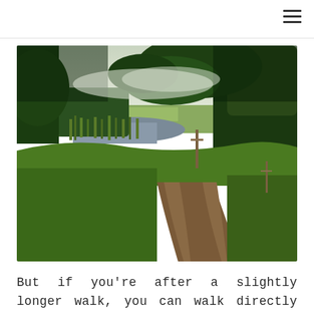[Figure (photo): A countryside walking path with a dirt track running alongside a river or canal, bordered by lush green grass and tall trees with overhanging branches. The scene shows a rural English landscape under a grey sky.]
But if you're after a slightly longer walk, you can walk directly from the centre of York to